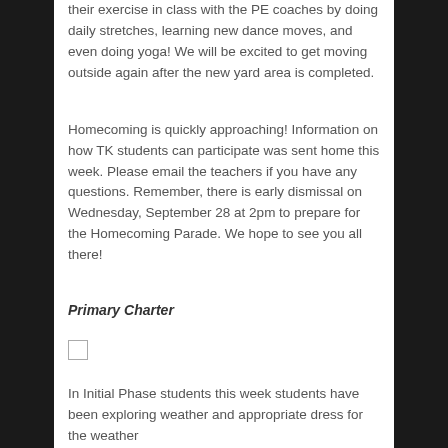their exercise in class with the PE coaches by doing daily stretches, learning new dance moves, and even doing yoga!  We will be excited to get moving outside again after the new yard area is completed.
Homecoming is quickly approaching! Information on how TK students can participate was sent home this week. Please email the teachers if you have any questions. Remember, there is early dismissal on Wednesday, September 28 at 2pm to prepare for the Homecoming Parade.  We hope to see you all there!
Primary Charter
[Figure (other): Empty checkbox square]
In Initial Phase students this week students have been exploring weather and appropriate dress for the weather